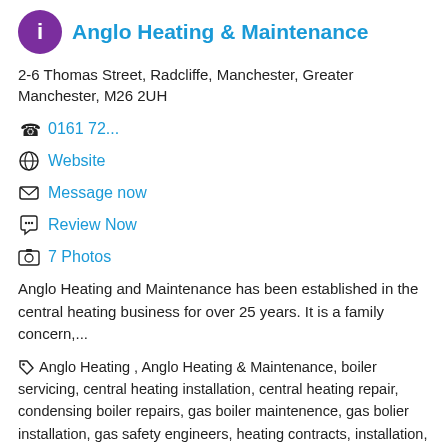Anglo Heating & Maintenance
2-6 Thomas Street, Radcliffe, Manchester, Greater Manchester, M26 2UH
0161 72...
Website
Message now
Review Now
7 Photos
Anglo Heating and Maintenance has been established in the central heating business for over 25 years. It is a family concern,...
Anglo Heating , Anglo Heating & Maintenance, boiler servicing, central heating installation, central heating repair, condensing boiler repairs, gas boiler maintenence, gas bolier installation, gas safety engineers, heating contracts, installation, landlord safety certificates, maintenance, plumber, power flushing